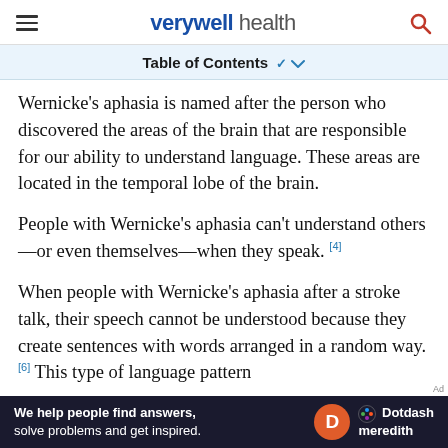verywell health
Table of Contents
Wernicke's aphasia is named after the person who discovered the areas of the brain that are responsible for our ability to understand language. These areas are located in the temporal lobe of the brain.
People with Wernicke's aphasia can't understand others—or even themselves—when they speak. [4]
When people with Wernicke's aphasia after a stroke talk, their speech cannot be understood because they create sentences with words arranged in a random way. [6] This type of language pattern
[Figure (other): Dotdash Meredith advertisement banner: 'We help people find answers, solve problems and get inspired.']